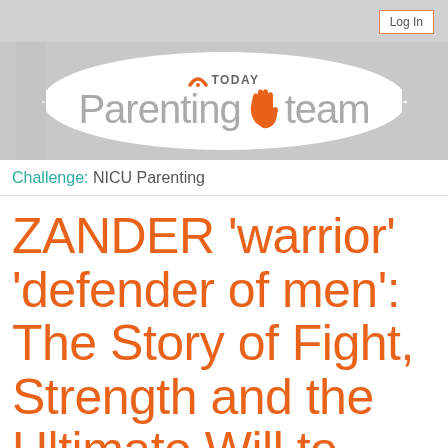Log In
[Figure (logo): TODAY Parenting Team logo with rainbow arc icon and hand/wave graphic between 'Parenting' and 'team' text]
Challenge: NICU Parenting
ZANDER 'warrior' 'defender of men': The Story of Fight, Strength and the Ultimate Will to Live